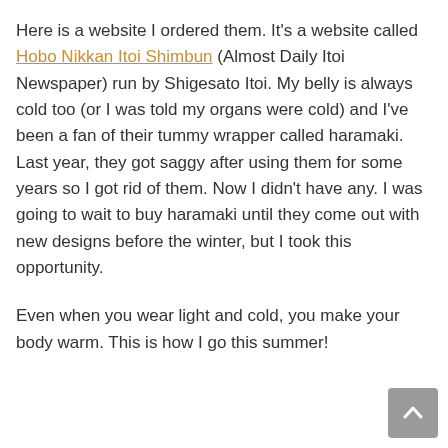Here is a website I ordered them. It's a website called Hobo Nikkan Itoi Shimbun (Almost Daily Itoi Newspaper) run by Shigesato Itoi. My belly is always cold too (or I was told my organs were cold) and I've been a fan of their tummy wrapper called haramaki. Last year, they got saggy after using them for some years so I got rid of them. Now I didn't have any. I was going to wait to buy haramaki until they come out with new designs before the winter, but I took this opportunity.
Even when you wear light and cold, you make your body warm. This is how I go this summer!